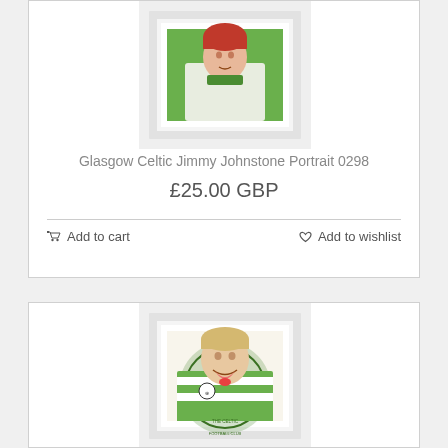[Figure (photo): Framed portrait artwork of Glasgow Celtic Jimmy Johnstone, showing a player in green kit with a white frame]
Glasgow Celtic Jimmy Johnstone Portrait 0298
£25.00 GBP
Add to cart
Add to wishlist
[Figure (photo): Framed portrait artwork of a Celtic FC player in green and white hooped shirt, smiling, with The Celtic FC club crest visible in background, displayed in white frame]